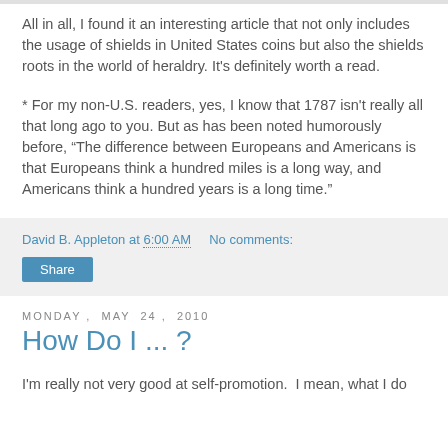All in all, I found it an interesting article that not only includes the usage of shields in United States coins but also the shields roots in the world of heraldry. It's definitely worth a read.
* For my non-U.S. readers, yes, I know that 1787 isn't really all that long ago to you. But as has been noted humorously before, “The difference between Europeans and Americans is that Europeans think a hundred miles is a long way, and Americans think a hundred years is a long time.”
David B. Appleton at 6:00 AM   No comments:
Share
Monday, May 24, 2010
How Do I ... ?
I'm really not very good at self-promotion.  I mean, what I do